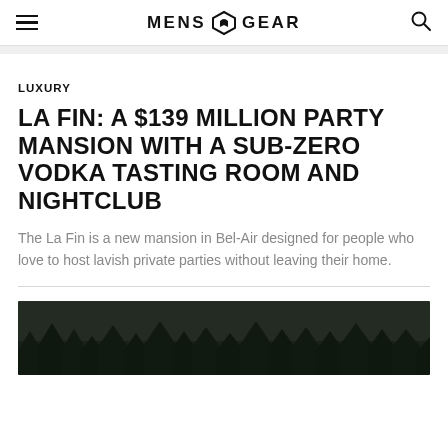MENS GEAR
LUXURY
LA FIN: A $139 MILLION PARTY MANSION WITH A SUB-ZERO VODKA TASTING ROOM AND NIGHTCLUB
The La Fin is a new mansion in Bel-Air designed for people who love to host lavish private parties without leaving their home.
[Figure (photo): Dark aerial or landscape photo showing dense dark green trees at night or dusk, very low light]